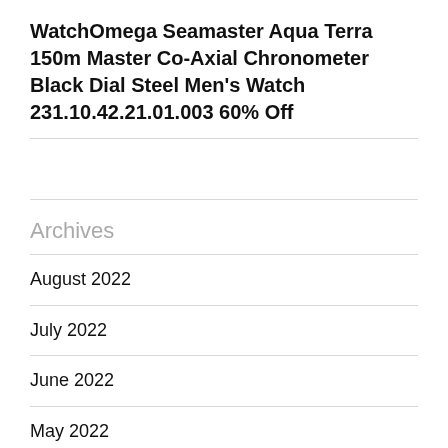WatchOmega Seamaster Aqua Terra 150m Master Co-Axial Chronometer Black Dial Steel Men's Watch 231.10.42.21.01.003 60% Off
Archives
August 2022
July 2022
June 2022
May 2022
April 2022